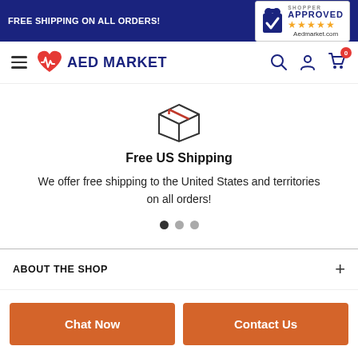FREE SHIPPING ON ALL ORDERS! — Shopper Approved ★★★★★ Aedmarket.com
[Figure (logo): AED Market logo with heart and heartbeat icon, navy blue text]
Free US Shipping
We offer free shipping to the United States and territories on all orders!
ABOUT THE SHOP
Chat Now
Contact Us